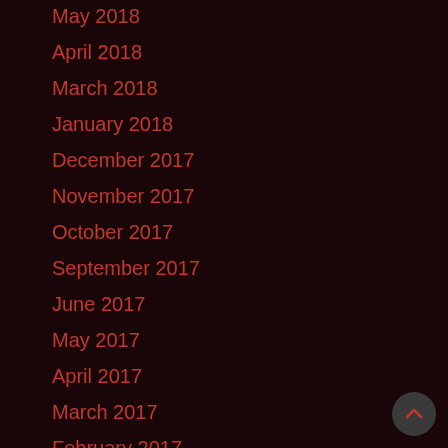May 2018
April 2018
March 2018
January 2018
December 2017
November 2017
October 2017
September 2017
June 2017
May 2017
April 2017
March 2017
February 2017
January 2017
December 2016
November 2016